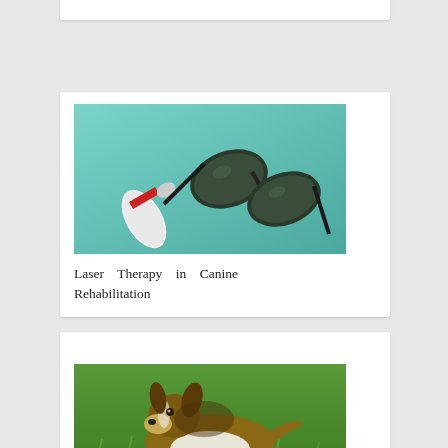Canine Behavior
[Figure (photo): Laser therapy device (handheld applicator with red band) and protective green-tinted sunglasses on a teal/green background]
Laser Therapy in Canine Rehabilitation
[Figure (photo): A Shetland Sheepdog (Sheltie) lying on green grass with a bandage/wrap on its front leg]
Other Modalities in Veterinary